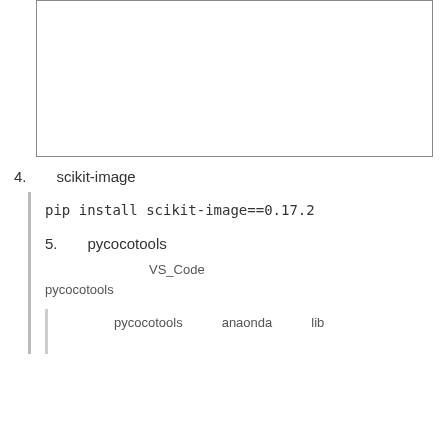[Figure (other): Empty white box with border, likely placeholder for an image]
4.  scikit-image
pip install scikit-image==0.17.2
5.  pycocotools
xxxxxxxxxxxxxxxxxxxxxxVS_Codexxxxxxxxxxxxxxxxxxxxxxxxxxxxxxxx pycocotoolsxxxxxx
xxxxxxxxpycocotoolsxxxxxanaondaxxxxxlibxxxx xx